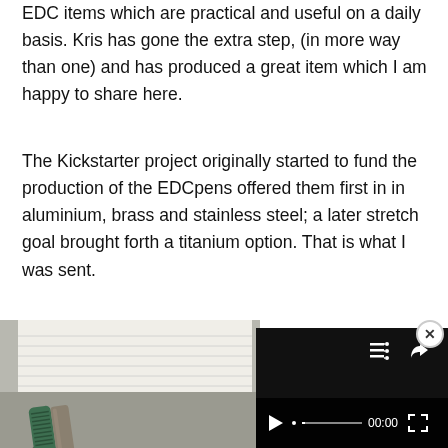EDC items which are practical and useful on a daily basis. Kris has gone the extra step, (in more way than one) and has produced a great item which I am happy to share here.
The Kickstarter project originally started to fund the production of the EDCpens offered them first in in aluminium, brass and stainless steel; a later stretch goal brought forth a titanium option. That is what I was sent.
[Figure (photo): Left half shows a photo of a green titanium EDC pen lying on a lined notebook page. Right half shows a video player overlay with black background, top icons for list/playlist and share, and bottom controls with play button, progress bar showing 00:00, and fullscreen button. A white circular close (x) button appears at top right.]